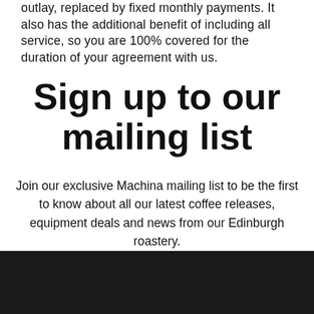outlay, replaced by fixed monthly payments. It also has the additional benefit of including all service, so you are 100% covered for the duration of your agreement with us.
Sign up to our mailing list
Join our exclusive Machina mailing list to be the first to know about all our latest coffee releases, equipment deals and news from our Edinburgh roastery.
[Figure (logo): White logo on black background - mountain/arch shaped icon]